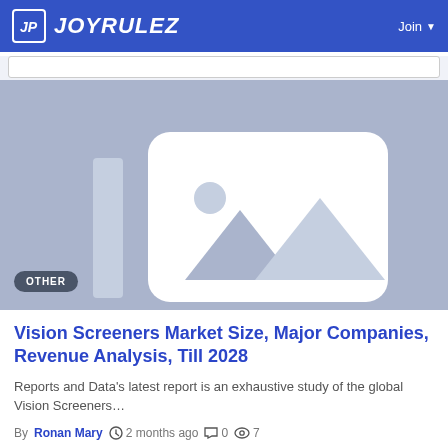JOYRULEZ  Join
[Figure (illustration): Placeholder image thumbnail with blue-grey background and a white rounded-rectangle image icon with mountain silhouette. Badge label 'OTHER' in bottom-left corner.]
Vision Screeners Market Size, Major Companies, Revenue Analysis, Till 2028
Reports and Data’s latest report is an exhaustive study of the global Vision Screeners…
By Ronan Mary  2 months ago  0  7